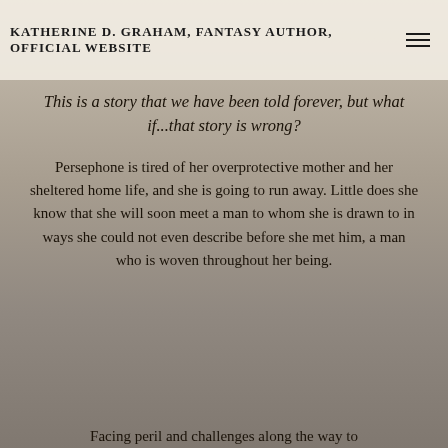KATHERINE D. GRAHAM, FANTASY AUTHOR, OFFICIAL WEBSITE
This is a story that we have been told forever, but what if...that story is wrong?
Persephone is tired of her overprotective mother and her sheltered home life, and she is going to run away. Little does she know that she will soon meet a man to whom she is drawn to in ways she could not even describe before she met him, a man who is woven throughout her being.
Facing peril and challenges along the way to